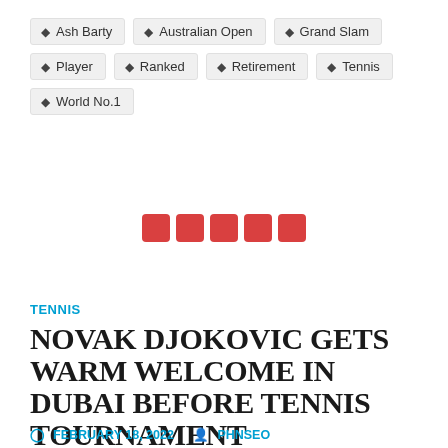Ash Barty
Australian Open
Grand Slam
Player
Ranked
Retirement
Tennis
World No.1
[Figure (other): Pagination dots: five red rounded squares in a row]
TENNIS
NOVAK DJOKOVIC GETS WARM WELCOME IN DUBAI BEFORE TENNIS TOURNAMENT
FEBRUARY 18, 2022  PHNSEO